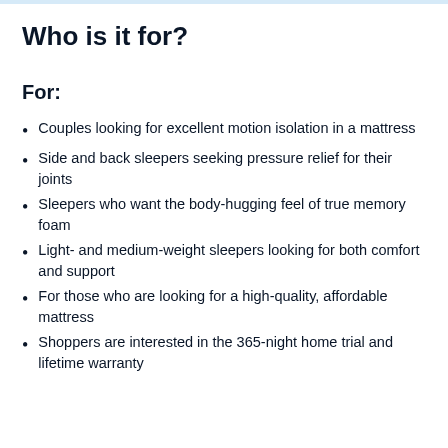Who is it for?
For:
Couples looking for excellent motion isolation in a mattress
Side and back sleepers seeking pressure relief for their joints
Sleepers who want the body-hugging feel of true memory foam
Light- and medium-weight sleepers looking for both comfort and support
For those who are looking for a high-quality, affordable mattress
Shoppers are interested in the 365-night home trial and lifetime warranty